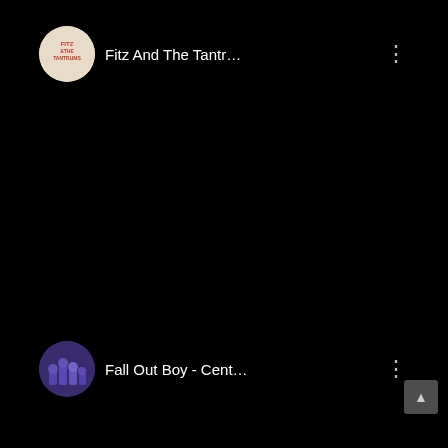[Figure (screenshot): YouTube-style video card for 'Fitz And The Tantr...' with circular logo avatar and black video area, three-dot menu icon]
[Figure (screenshot): YouTube-style video card for 'Fall Out Boy - Cent...' with circular band photo avatar and black video area, three-dot menu icon, scroll-up arrow button visible on right edge]